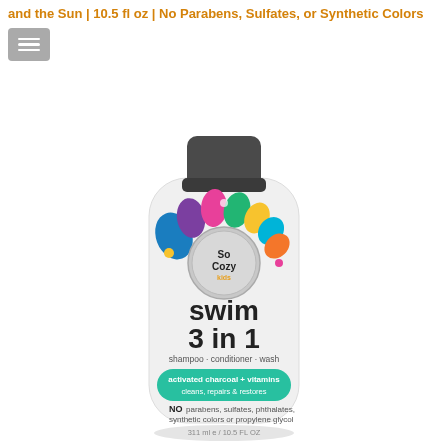and the Sun | 10.5 fl oz | No Parabens, Sulfates, or Synthetic Colors
[Figure (photo): SoCozy Kids Swim 3 in 1 shampoo-conditioner-wash bottle (311 ml / 10.5 FL OZ) with dark gray flip-top cap, white bottle with colorful paint-splash design, silver badge reading 'So Cozy Kids Trusted Salon Formula Hair Care For Kids', teal banner reading 'activated charcoal + vitamins cleans, repairs & restores', and text 'NO parabens, sulfates, phthalates, synthetic colors or propylene glycol']